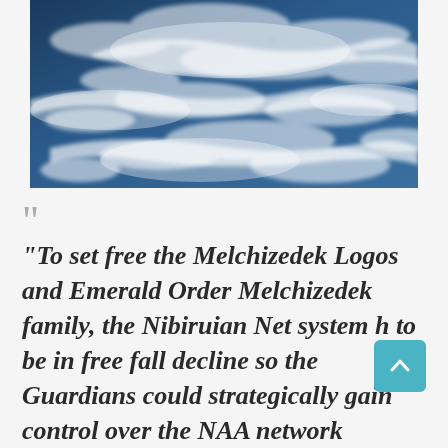[Figure (photo): Blue sky with wispy white cirrus clouds, tinted in blue tones]
““
“To set free the Melchizedek Logos and Emerald Order Melchizedek family, the Nibiruian Net system h to be in free fall decline so the Guardians could strategically gain control over the NAA network